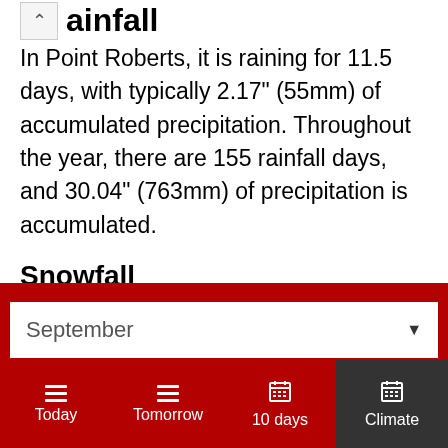ainfall
In Point Roberts, it is raining for 11.5 days, with typically 2.17" (55mm) of accumulated precipitation. Throughout the year, there are 155 rainfall days, and 30.04" (763mm) of precipitation is accumulated.
Snowfall
April through October are months without snowfall.
Daylight
The average length of the day in September in Point Roberts is 13h and 31 min.
September
Today | Tomorrow | 10 days | Climate